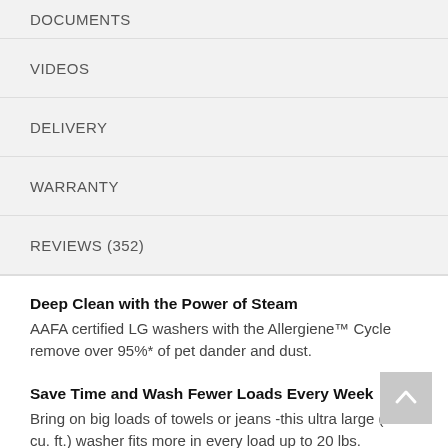DOCUMENTS
VIDEOS
DELIVERY
WARRANTY
REVIEWS (352)
Deep Clean with the Power of Steam
AAFA certified LG washers with the Allergiene™ Cycle remove over 95%* of pet dander and dust.
Save Time and Wash Fewer Loads Every Week
Bring on big loads of towels or jeans -this ultra large (4.5 cu. ft.) washer fits more in every load up to 20 lbs.
Add Wash Without Stopping